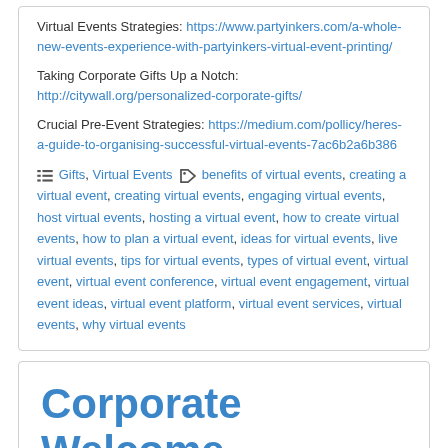Virtual Events Strategies: https://www.partyinkers.com/a-whole-new-events-experience-with-partyinkers-virtual-event-printing/
Taking Corporate Gifts Up a Notch: http://citywall.org/personalized-corporate-gifts/
Crucial Pre-Event Strategies: https://medium.com/pollicy/heres-a-guide-to-organising-successful-virtual-events-7ac6b2a6b386
Gifts, Virtual Events — benefits of virtual events, creating a virtual event, creating virtual events, engaging virtual events, host virtual events, hosting a virtual event, how to create virtual events, how to plan a virtual event, ideas for virtual events, live virtual events, tips for virtual events, types of virtual event, virtual event, virtual event conference, virtual event engagement, virtual event ideas, virtual event platform, virtual event services, virtual events, why virtual events
Corporate Welcome Gifts For Men
Posted on June 29, 2020 by greenladybug841